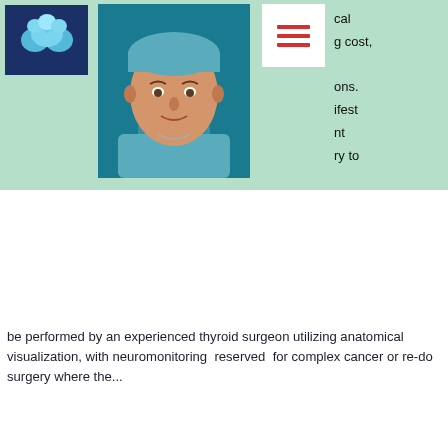[Figure (logo): Blue background logo with white tooth/medical icon in top-left]
[Figure (photo): Portrait photo of a male surgeon wearing surgical cap and scrubs against teal background]
[Figure (other): White box with three red horizontal lines (hamburger menu icon)]
cal
g cost,
ons.
ifest
nt
ry to
be performed by an experienced thyroid surgeon utilizing anatomical visualization, with neuromonitoring reserved for complex cancer or re-do surgery where the...
[Figure (photo): Close-up surgical/medical photo showing anatomical structures in red tissue, appears to be thyroid surgery]
American College of Surgeons recent comment on neuromonitoring